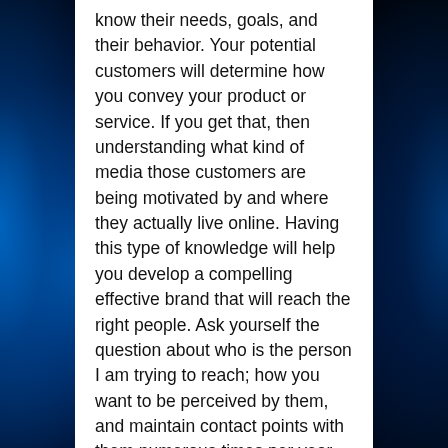know their needs, goals, and their behavior. Your potential customers will determine how you convey your product or service. If you get that, then understanding what kind of media those customers are being motivated by and where they actually live online. Having this type of knowledge will help you develop a compelling effective brand that will reach the right people. Ask yourself the question about who is the person I am trying to reach; how you want to be perceived by them, and maintain contact points with them numerous times per year.
Try to begin this process and execute a